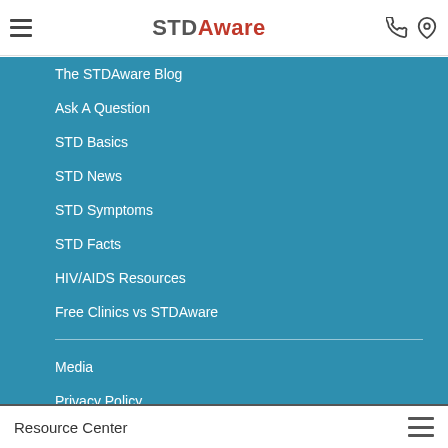STDAware
The STDAware Blog
Ask A Question
STD Basics
STD News
STD Symptoms
STD Facts
HIV/AIDS Resources
Free Clinics vs STDAware
Media
Privacy Policy
Terms Of Service
Resource Center